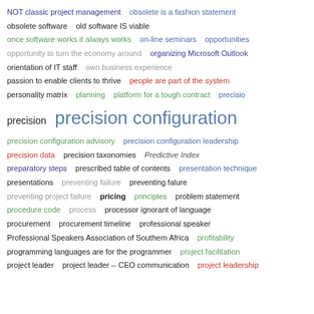NOT classic project management   obsolete is a fashion statement
obsolete software   old software IS viable
once software works it always works   on-line seminars   opportunities
opportunity to turn the economy around   organizing Microsoft Outlook
orientation of IT staff   own business experience
passion to enable clients to thrive   people are part of the system
personality matrix   planning   platform for a tough contract   precisio
precision   precision configuration
precision configuration advisory   precision configuration leadership
precision data   precision taxonomies   Predictive Index
preparatory steps   prescribed table of contents   presentation technique
presentations   preventing failure   preventing falure
preventing project failure   pricing   principles   problem statement
procedure code   process   processor ignorant of language
procurement   procurement timeline   professional speaker
Professional Speakers Association of Southern Africa   profitability
programming languages are for the programmer   project facilitation
project leader   project leader -- CEO communication   project leadership